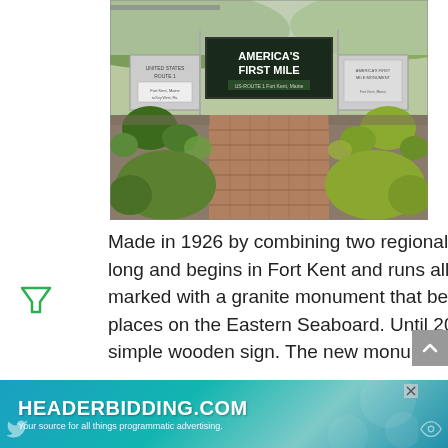[Figure (photo): America's First Mile monument and plaza — a brick walkway leads to a dark sign reading 'America's First Mile' flanked by informational panels, surrounded by green landscaping and shrubs.]
Made in 1926 by combining two regional highways into one, United States Route 1 is 2,369 miles long and begins in Fort Kent and runs all the way down to Key West, Florida. Its only starting point is marked with a granite monument that begins America's First Mile, though it runs through most major places on the Eastern Seaboard. Until 2010, the beginning of the highway was only marked with a simple wooden sign. The new monument and plaza were built in
[Figure (screenshot): Advertisement banner for HEADERBIDDING.COM — 'Your source for all things programmatic advertising.' with teal/blue gradient background and Twitter/eye icons.]